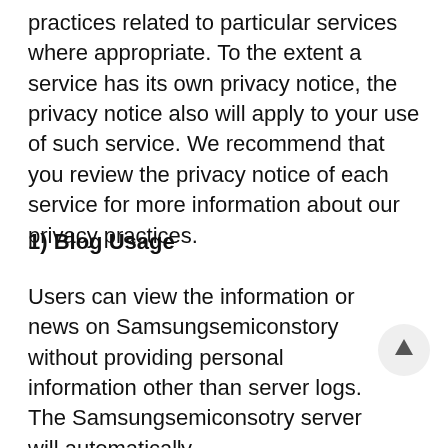practices related to particular services where appropriate. To the extent a service has its own privacy notice, the privacy notice also will apply to your use of such service. We recommend that you review the privacy notice of each service for more information about our privacy practices.
1) Blog Usage
Users can view the information or news on Samsungsemiconstory without providing personal information other than server logs. The Samsungsemiconsotry server will automatically record user's browser information when visi the blog. Such server logs include information that identifies the user's browser, such as the